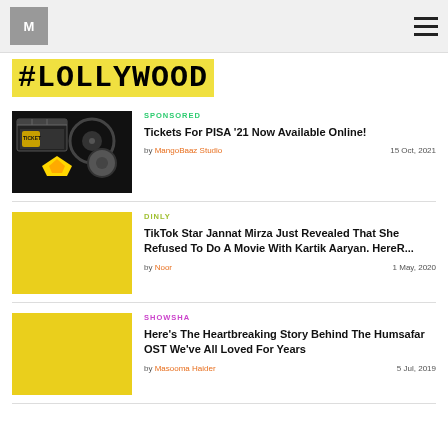M MangoBaaz
#LOLLYWOOD
[Figure (photo): Movie tickets, clapperboard, film reel and dice on dark background]
SPONSORED
Tickets For PISA '21 Now Available Online!
by MangoBaaz Studio   15 Oct, 2021
[Figure (photo): Yellow placeholder image]
DINLY
TikTok Star Jannat Mirza Just Revealed That She Refused To Do A Movie With Kartik Aaryan. HereR...
by Noor   1 May, 2020
[Figure (photo): Yellow placeholder image]
SHOWSHA
Here's The Heartbreaking Story Behind The Humsafar OST We've All Loved For Years
by Masooma Haider   5 Jul, 2019